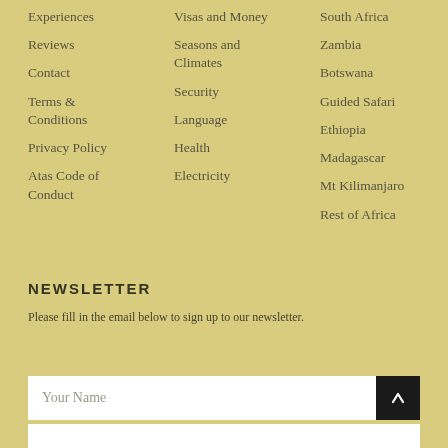Experiences
Reviews
Contact
Terms & Conditions
Privacy Policy
Atas Code of Conduct
Visas and Money
Seasons and Climates
Security
Language
Health
Electricity
South Africa
Zambia
Botswana
Guided Safari
Ethiopia
Madagascar
Mt Kilimanjaro
Rest of Africa
NEWSLETTER
Please fill in the email below to sign up to our newsletter.